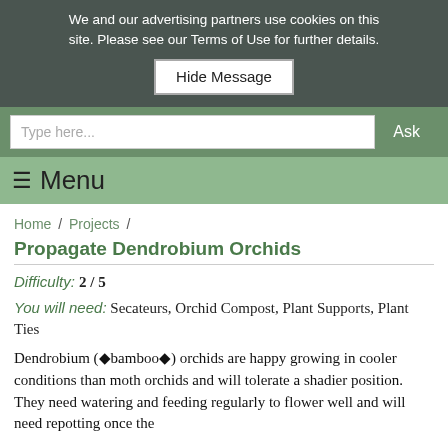We and our advertising partners use cookies on this site. Please see our Terms of Use for further details. Hide Message
[Figure (screenshot): Search bar with 'Type here...' placeholder and 'Ask' button on green background]
≡ Menu
Home / Projects /
Propagate Dendrobium Orchids
Difficulty: 2 / 5
You will need: Secateurs, Orchid Compost, Plant Supports, Plant Ties
Dendrobium (◆bamboo◆) orchids are happy growing in cooler conditions than moth orchids and will tolerate a shadier position. They need watering and feeding regularly to flower well and will need repotting once the